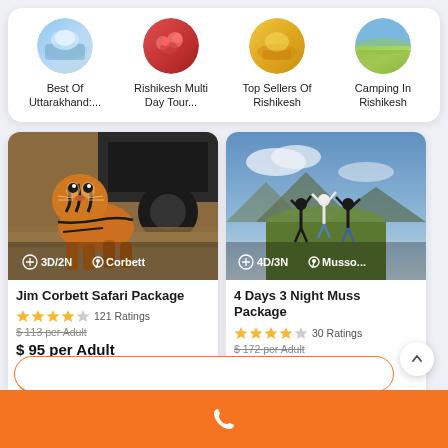[Figure (other): Category navigation row with four circular icons: Best Of Uttarakhand:..., Rishikesh Multi Day Tour..., Top Sellers Of Rishikesh, Camping In Rishikesh]
[Figure (photo): Jim Corbett Safari Package card with tiger walking near jeep, 3D/2N Corbett badge, 4 stars, 121 Ratings, $113 crossed out, $95 per Adult, Send Enquiry button]
[Figure (photo): 4 Days 3 Night Mussoorie Package card with people on mountain top, 4D/3N Mussoorie badge, 4 stars, 30 Ratings, $172 crossed out, $134 per Adult]